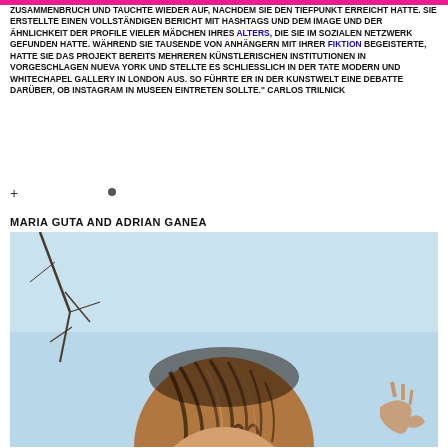ZUSAMMENBRUCH UND TAUCHTE WIEDER AUF, NACHDEM SIE DEN TIEFPUNKT ERREICHT HATTE. SIE ERSTELLTE EINEN VOLLSTÄNDIGEN BERICHT MIT HASHTAGS UND DEM IMAGE UND DER ÄHNLICHKEIT DER PROFILE VIELER MÄDCHEN IHRES ALTERS, DIE SIE IM SOZIALEN NETZWERK GEFUNDEN HATTE. WÄHREND SIE TAUSENDE VON ANHÄNGERN MIT IHRER FIKTION BEGEISTERTE, HATTE SIE DAS PROJEKT BEREITS MEHREREN KÜNSTLERISCHEN INSTITUTIONEN IN VORGESCHLAGEN NUEVA YORK UND STELLTE ES SCHLIESSLICH IN DER TATE MODERN UND WHITECHAPEL GALLERY IN LONDON AUS. SO FÜHRTE ER IN DER KUNSTWELT EINE DEBATTE DARÜBER, OB INSTAGRAM IN MUSEEN EINTRETEN SOLLTE." CARLOS TRILNICK
MARIA GUTA AND ADRIAN GANEA
[Figure (photo): Close-up photo of a person with dark hair streaked with lighter tones, outdoors with a light blue sky background and bare branches visible. A hand is partially visible at lower right.]